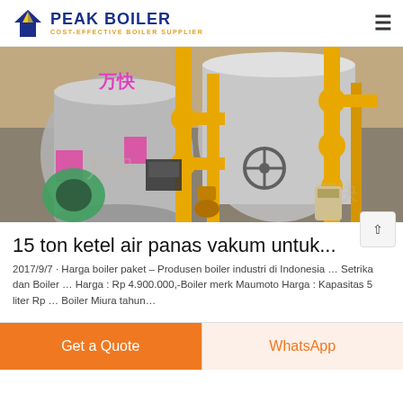PEAK BOILER — COST-EFFECTIVE BOILER SUPPLIER
[Figure (photo): Industrial boilers with yellow pipe fittings and green fan units in a factory setting, with Chinese characters visible on machinery.]
15 ton ketel air panas vakum untuk...
2017/9/7 · Harga boiler paket – Produsen boiler industri di Indonesia … Setrika dan Boiler … Harga : Rp 4.900.000,-Boiler merk Maumoto Harga : Kapasitas 5 liter Rp … Boiler Miura tahun…
Get a Quote | WhatsApp